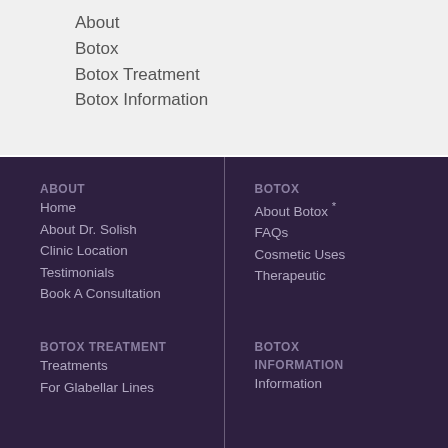About
Botox
Botox Treatment
Botox Information
ABOUT
Home
About Dr. Solish
Clinic Location
Testimonials
Book A Consultation
BOTOX
About Botox *
FAQs
Cosmetic Uses
Therapeutic
BOTOX TREATMENT
Treatments
For Glabellar Lines
BOTOX INFORMATION
Information